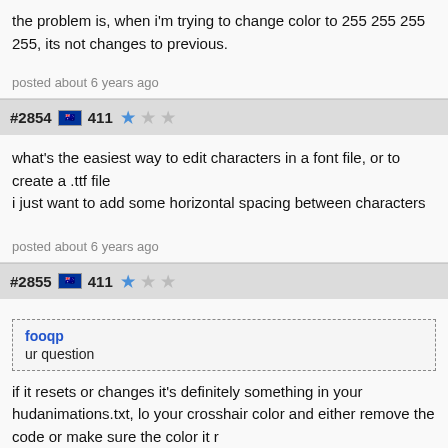the problem is, when i'm trying to change color to 255 255 255 255, its not changes to previous.
posted about 6 years ago
#2854  411  ☆☆☆
what's the easiest way to edit characters in a font file, or to create a .ttf file i just want to add some horizontal spacing between characters
posted about 6 years ago
#2855  411  ☆☆☆
fooqp
ur question
if it resets or changes it's definitely something in your hudanimations.txt, lo your crosshair color and either remove the code or make sure the color it r
posted about 6 years ago
#2856  nimtra ☆☆☆